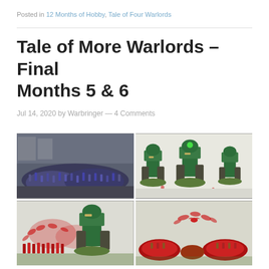Posted in 12 Months of Hobby, Tale of Four Warlords
Tale of More Warlords – Final Months 5 & 6
Jul 14, 2020 by Warbringer — 4 Comments
[Figure (photo): Four-panel grid of Warhammer miniature photos: top-left shows a large army of blue/purple space marines; top-right shows green mech walkers (Imperial Knights or similar) on a white background; bottom-left shows red infantry models grouped with a green mech; bottom-right shows red blob/terrain pieces with small figures on white background.]